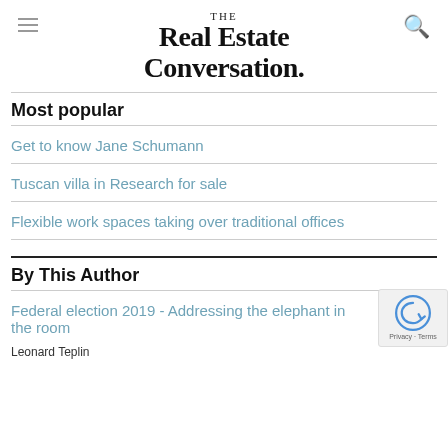THE Real Estate Conversation.
Most popular
Get to know Jane Schumann
Tuscan villa in Research for sale
Flexible work spaces taking over traditional offices
By This Author
Federal election 2019 - Addressing the elephant in the room
Leonard Teplin